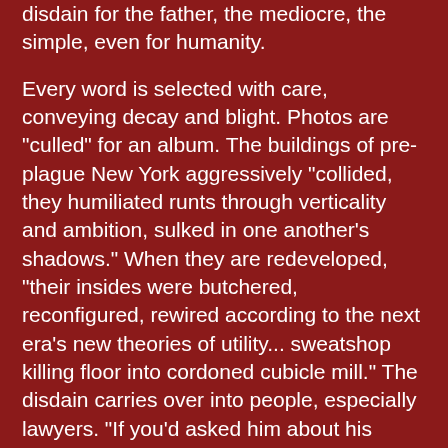disdain for the father, the mediocre, the simple, even for humanity.
Every word is selected with care, conveying decay and blight. Photos are "culled" for an album. The buildings of pre-plague New York aggressively "collided, they humiliated runts through verticality and ambition, sulked in one another's shadows." When they are redeveloped, "their insides were butchered, reconfigured, rewired according to the next era's new theories of utility... sweatshop killing floor into cordoned cubicle mill." The disdain carries over into people, especially lawyers. "If you'd asked him about his plans... the answer would have come easily: lawyering. He was berefit of attractive propositions, constitutionally unaccustomed for enthusiasm, and generally malleable... Hence, law." Likewise, design firms, receptionists, number-crunching bureaucrats, fast-food friers, soldiers--none are spared from the contemptuous voyeuristic lens.
Living characters are suspiciously similar to zombies. Gary, on Mark's team has "fingernails which were seemingly constructed of grime as if he had clawed out of a coffin," and